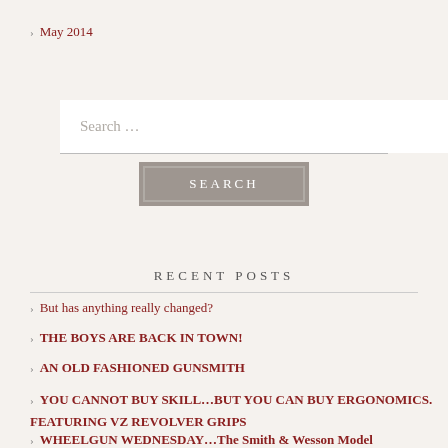May 2014
[Figure (other): Search input box with placeholder text 'Search ...' and a SEARCH button below]
RECENT POSTS
But has anything really changed?
THE BOYS ARE BACK IN TOWN!
AN OLD FASHIONED GUNSMITH
YOU CANNOT BUY SKILL...BUT YOU CAN BUY ERGONOMICS. FEATURING VZ REVOLVER GRIPS
WHEELGUN WEDNESDAY...The Smith & Wesson Model